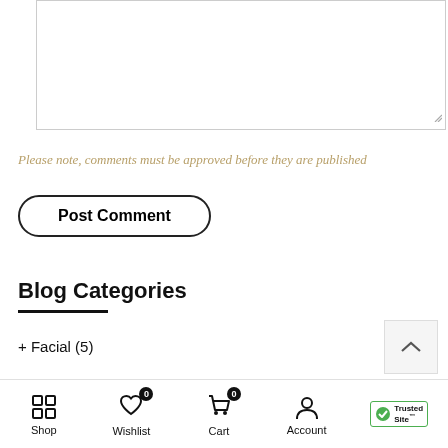[Figure (screenshot): Empty textarea input box with resize handle at bottom right]
Please note, comments must be approved before they are published
Post Comment
Blog Categories
+ Facial (5)
Shop  Wishlist 0  Cart 0  Account  TrustedSite